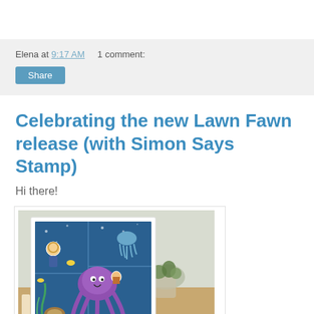Elena at 9:17 AM    1 comment:
Share
Celebrating the new Lawn Fawn release (with Simon Says Stamp)
Hi there!
[Figure (photo): A handmade greeting card with a cute underwater/space scene featuring a purple octopus, a jellyfish, a diver, and sea creatures on a teal/blue background, displayed propped up on a wooden surface with a potted succulent plant in the background.]